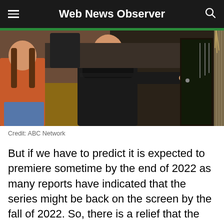Web News Observer
[Figure (photo): A person in a black leather jacket standing in a kitchen/living area, pointing toward a door. Another person in an orange top is visible on the left side.]
Credit: ABC Network
But if we have to predict it is expected to premiere sometime by the end of 2022 as many reports have indicated that the series might be back on the screen by the fall of 2022. So, there is a relief that the fans won't have to wait for long. But, for the time being, we suggest fans patiently wait for some time until the